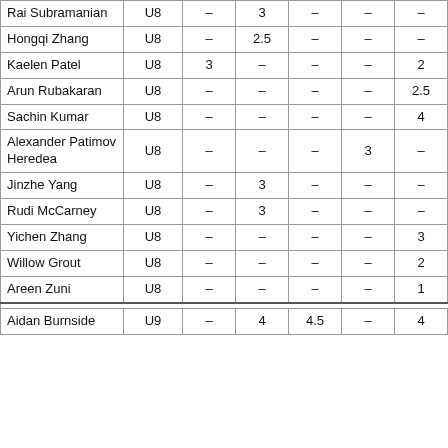| Name | Cat | R1 | R2 | R3 | R4 | R5 | R6 | Total |  |
| --- | --- | --- | --- | --- | --- | --- | --- | --- | --- |
| Rai Subramanian | U8 | – | 3 | – | – | – | 3.5 | 6.5 |  |
| Hongqi Zhang | U8 | – | 2.5 | – | – | – | 3.5 | 6 |  |
| Kaelen Patel | U8 | 3 | – | – | – | 2 | – | 5 |  |
| Arun Rubakaran | U8 | – | – | – | – | 2.5 | 2.5 | 5 |  |
| Sachin Kumar | U8 | – | – | – | – | 4 | – | 4 |  |
| Alexander Patimov Heredea | U8 | – | – | – | 3 | – | – | 3 |  |
| Jinzhe Yang | U8 | – | 3 | – | – | – | – | 3 |  |
| Rudi McCarney | U8 | – | 3 | – | – | – | – | 3 |  |
| Yichen Zhang | U8 | – | – | – | – | 3 | – | 3 |  |
| Willow Grout | U8 | – | – | – | – | 2 | – | 2 |  |
| Areen Zuni | U8 | – | – | – | – | 1 | – | 1 |  |
| Aidan Burnside | U9 | – | 4 | 4.5 | – | 4 | 4 | 16.5 | Y |